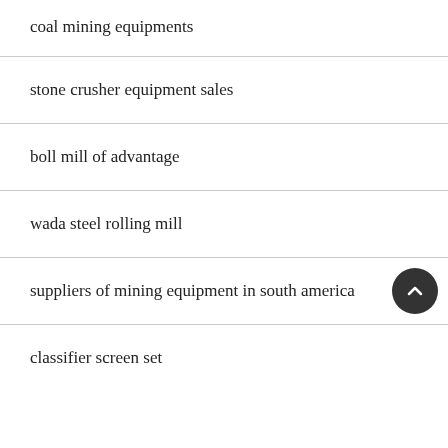coal mining equipments
stone crusher equipment sales
boll mill of advantage
wada steel rolling mill
suppliers of mining equipment in south america
classifier screen set